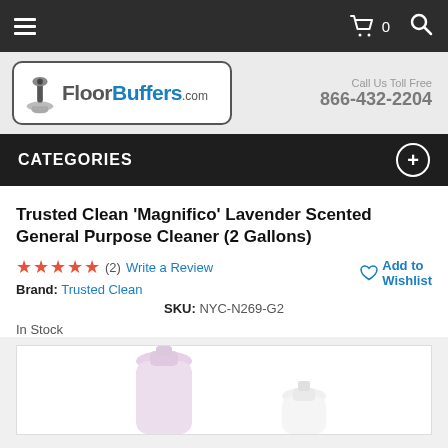FloorBuffers.com navigation bar with hamburger menu, cart (0), and search icon
[Figure (logo): FloorBuffers.com logo with floor buffer machine icon]
Call Us Toll Free
866-432-2204
CATEGORIES
Trusted Clean 'Magnifico' Lavender Scented General Purpose Cleaner (2 Gallons)
★★★★★ (2) Write a Review
Brand: Trusted Clean
Add to Wishlist
SKU: NYC-N269-G2
In Stock
[Figure (photo): Partial view of two lavender/white plastic gallon cleaner bottles]